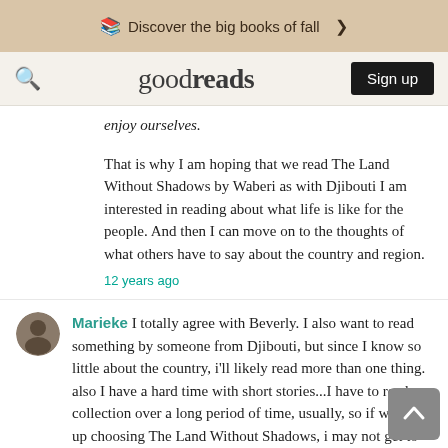Discover the big books of fall >
goodreads  Sign up
enjoy ourselves.
That is why I am hoping that we read The Land Without Shadows by Waberi as with Djibouti I am interested in reading about what life is like for the people. And then I can move on to the thoughts of what others have to say about the country and region.
12 years ago
Marieke I totally agree with Beverly. I also want to read something by someone from Djibouti, but since I know so little about the country, i'll likely read more than one thing.
also I have a hard time with short stories...I have to read a collection over a long period of time, usually, so if we end up choosing The Land Without Shadows, i may not get to every story in our time frame, but that's okay with me.
12 years ago